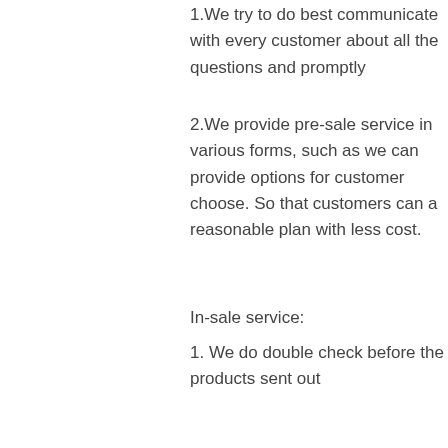1.We try to do best communicate with every customer about all the questions and promptly
2.We provide pre-sale service in various forms, such as we can provide options for customer choose. So that customers can a reasonable plan with less cost.
In-sale service:
1. We do double check before the products sent out
2. We do choose the safe shipping
3. We do make sure you can get the products on time
After service:
1.We do follow up after you get the products
2.We will answer customer questions in time. If need, we can provide free guidance if customer